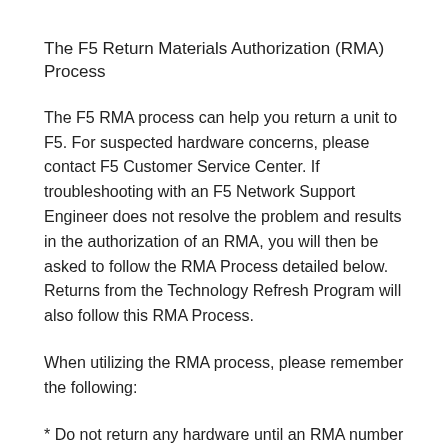The F5 Return Materials Authorization (RMA) Process
The F5 RMA process can help you return a unit to F5. For suspected hardware concerns, please contact F5 Customer Service Center. If troubleshooting with an F5 Network Support Engineer does not resolve the problem and results in the authorization of an RMA, you will then be asked to follow the RMA Process detailed below. Returns from the Technology Refresh Program will also follow this RMA Process.
When utilizing the RMA process, please remember the following:
* Do not return any hardware until an RMA number is issued. This number is necessary to ensure proper tracking and handling of returned material.